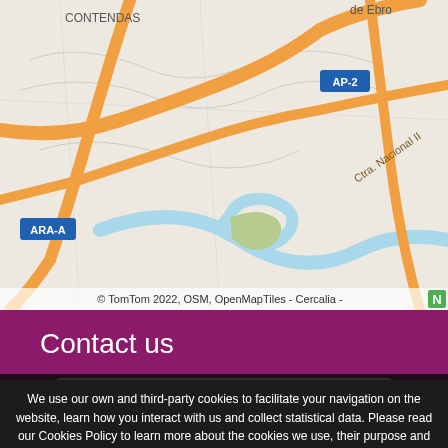[Figure (map): Street map showing roads near Contendas and de Ebro area, with highway AP-2, ARA-A road badge, Ctra. Nacional II label, river curves in blue, orange main roads, copyright TomTom 2022, OSM, OpenMapTiles - Cercalia]
Contact us
Name (*)
Surname
We use our own and third-party cookies to facilitate your navigation on the website, learn how you interact with us and collect statistical data. Please read our Cookies Policy to learn more about the cookies we use, their purpose and how to configure or reject them, if you consider it so.
QUESTION?
Accept all
Manage Cookies
Reject